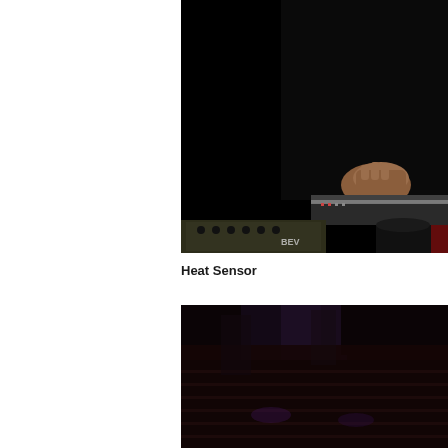[Figure (photo): Dark concert/DJ scene showing a person in black clothing operating DJ equipment/turntables, with a mixing board visible in the foreground and red elements in the background.]
Heat Sensor
[Figure (photo): Dark concert scene with purple/blue lighting showing audience or stage area with dark red and purple tones.]